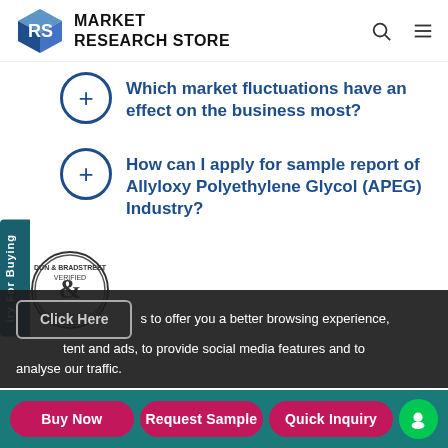[Figure (logo): Market Research Store logo with blue cube icon and bold text]
Which market fluctuations have an effect on the business most?
How can I apply for sample report of Allyloxy Polyethylene Glycol (APEG) Industry?
s to offer you a better browsing experience, tent and ads, to provide social media features and to analyse our traffic.
Buy Now   Request Sample   Quick Inquiry